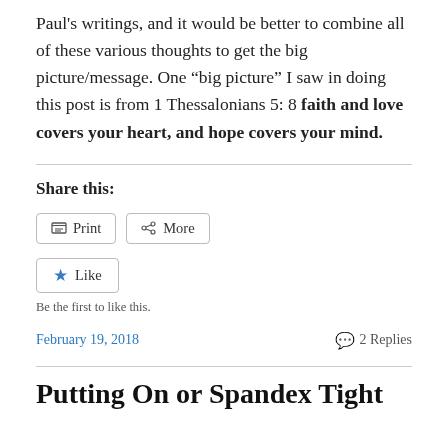Paul's writings, and it would be better to combine all of these various thoughts to get the big picture/message. One “big picture” I saw in doing this post is from 1 Thessalonians 5: 8 faith and love covers your heart, and hope covers your mind.
Share this:
Print | More
Like — Be the first to like this.
February 19, 2018 — 2 Replies
Putting On or Spandex Tight